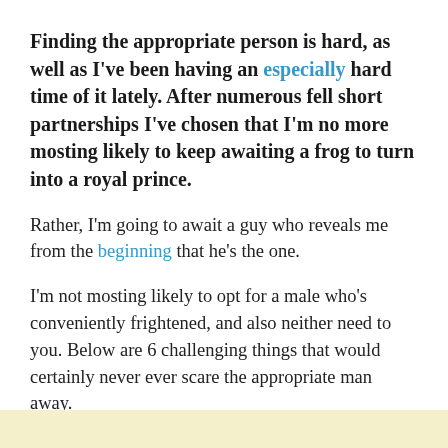Finding the appropriate person is hard, as well as I've been having an especially hard time of it lately. After numerous fell short partnerships I've chosen that I'm no more mosting likely to keep awaiting a frog to turn into a royal prince.
Rather, I'm going to await a guy who reveals me from the beginning that he's the one.
I'm not mosting likely to opt for a male who's conveniently frightened, and also neither need to you. Below are 6 challenging things that would certainly never ever scare the appropriate man away.